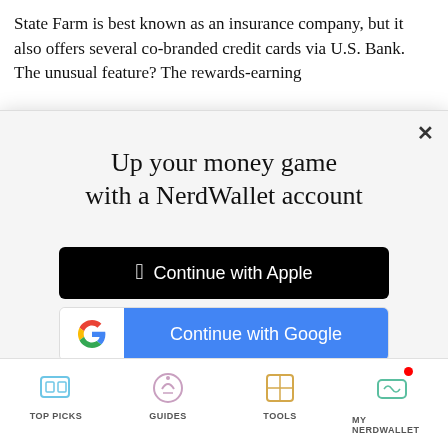State Farm is best known as an insurance company, but it also offers several co-branded credit cards via U.S. Bank. The unusual feature? The rewards-earning
Up your money game with a NerdWallet account
[Figure (screenshot): Continue with Apple button - black background with Apple logo]
[Figure (screenshot): Continue with Google button - white left panel with Google G logo, blue right panel with text]
or continue with email
By signing up, I agree to NerdWallet's Terms of Service and Privacy Policy.
TOP PICKS | GUIDES | TOOLS | MY NERDWALLET